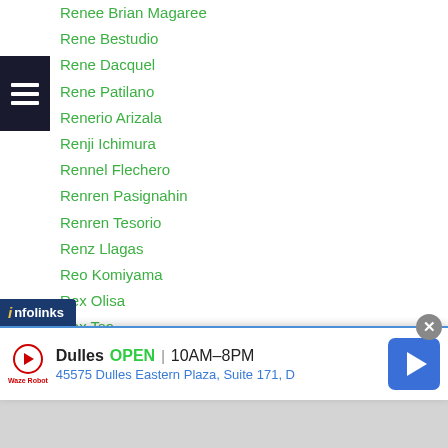Renee Brian Magaree
Rene Bestudio
Rene Dacquel
Rene Patilano
Renerio Arizala
Renji Ichimura
Rennel Flechero
Renren Pasignahin
Renren Tesorio
Renz Llagas
Reo Komiyama
Rex Olisa
Rex Tso
Rex Wao
Rey Anton Olarte
Rey Bautista
...ao
infolinks
Dulles  OPEN | 10AM–8PM  45575 Dulles Eastern Plaza, Suite 171, D